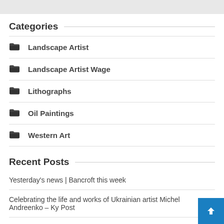Categories
Landscape Artist
Landscape Artist Wage
Lithographs
Oil Paintings
Western Art
Recent Posts
Yesterday's news | Bancroft this week
Celebrating the life and works of Ukrainian artist Michel Andreenko – Ky Post